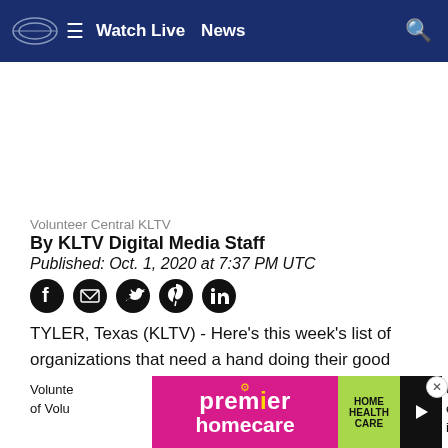≡  Watch Live  News
[Figure (other): Blank white advertisement space]
Volunteer Central KLTV
By KLTV Digital Media Staff
Published: Oct. 1, 2020 at 7:37 PM UTC
[Figure (other): Social share icons: Facebook, Email, Twitter, Pinterest, LinkedIn]
TYLER, Texas (KLTV) - Here's this week's list of organizations that need a hand doing their good work in our area. Help someone in need, make new friends, and feel good about doing a good thing.
Volunte...ectors of Volu...ence in
[Figure (other): Advertisement banner: Premier Homecare and Home Health Care]